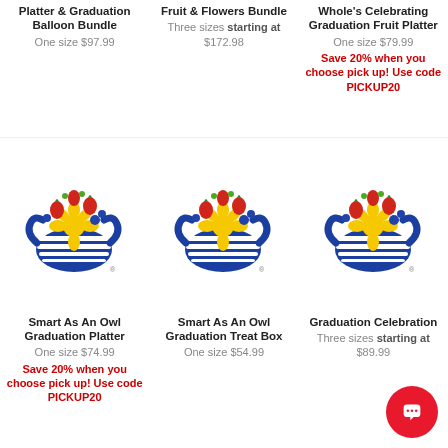Platter & Graduation Balloon Bundle
One size $97.99
Fruit & Flowers Bundle
Three sizes starting at $172.98
Whole's Celebrating Graduation Fruit Platter
One size $79.99
Save 20% when you choose pick up! Use code PICKUP20
[Figure (logo): Edible Arrangements fruit basket logo with flowers]
[Figure (logo): Edible Arrangements fruit basket logo with flowers]
[Figure (logo): Edible Arrangements fruit basket logo with flowers]
Smart As An Owl Graduation Platter
One size $74.99
Save 20% when you choose pick up! Use code PICKUP20
Smart As An Owl Graduation Treat Box
One size $54.99
Graduation Celebration
Three sizes starting at $89.99